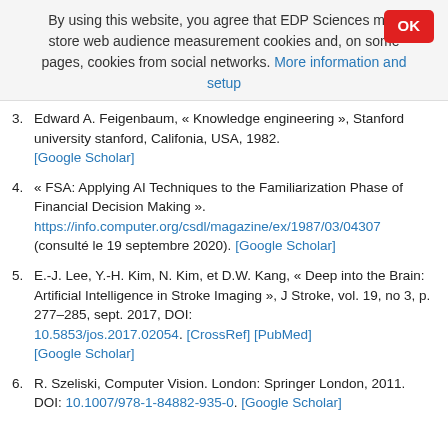By using this website, you agree that EDP Sciences may store web audience measurement cookies and, on some pages, cookies from social networks. More information and setup
3. Edward A. Feigenbaum, « Knowledge engineering », Stanford university stanford, Califonia, USA, 1982. [Google Scholar]
4. « FSA: Applying AI Techniques to the Familiarization Phase of Financial Decision Making ». https://info.computer.org/csdl/magazine/ex/1987/03/04307 (consulté le 19 septembre 2020). [Google Scholar]
5. E.-J. Lee, Y.-H. Kim, N. Kim, et D.W. Kang, « Deep into the Brain: Artificial Intelligence in Stroke Imaging », J Stroke, vol. 19, no 3, p. 277–285, sept. 2017, DOI: 10.5853/jos.2017.02054. [CrossRef] [PubMed] [Google Scholar]
6. R. Szeliski, Computer Vision. London: Springer London, 2011. DOI: 10.1007/978-1-84882-935-0. [Google Scholar]